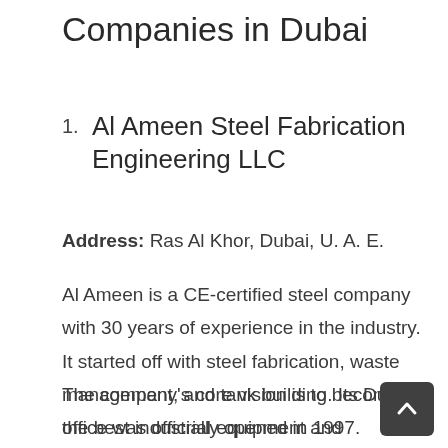Companies in Dubai
Al Ameen Steel Fabrication Engineering LLC
Address: Ras Al Khor, Dubai, U. A. E.
Al Ameen is a CE-certified steel company with 30 years of experience in the industry. It started off with steel fabrication, waste management, and tank building. Its Dubai office was officially opened in 1997.
The company's core vision is to become the best industrial equipment and transport company in the world. Its range of services includes machining,